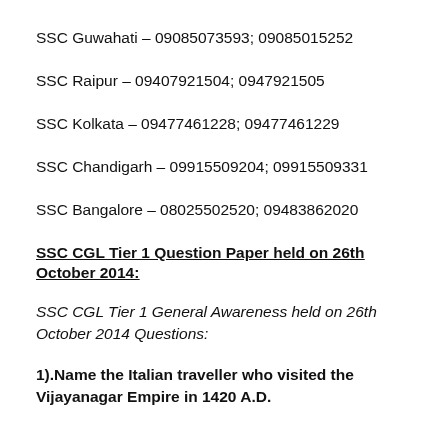SSC Guwahati – 09085073593; 09085015252
SSC Raipur – 09407921504; 0947921505
SSC Kolkata – 09477461228; 09477461229
SSC Chandigarh – 09915509204; 09915509331
SSC Bangalore – 08025502520; 09483862020
SSC CGL Tier 1 Question Paper held on 26th October 2014:
SSC CGL Tier 1 General Awareness held on 26th October 2014 Questions:
1).Name the Italian traveller who visited the Vijayanagar Empire in 1420 A.D.